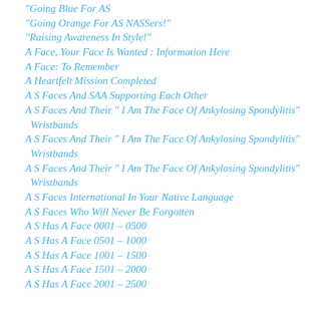“Going Blue For AS”
“Going Orange For AS NASSers!”
“Raising Awareness In Style!”
A Face, Your Face Is Wanted : Information Here
A Face: To Remember
A Heartfelt Mission Completed
A S Faces And SAA Supporting Each Other
A S Faces And Their “ I Am The Face Of Ankylosing Spondylitis” Wristbands
A S Faces And Their “ I Am The Face Of Ankylosing Spondylitis” Wristbands
A S Faces And Their “ I Am The Face Of Ankylosing Spondylitis” Wristbands
A S Faces International In Your Native Language
A S Faces Who Will Never Be Forgotten
A S Has A Face 0001 – 0500
A S Has A Face 0501 – 1000
A S Has A Face 1001 – 1500
A S Has A Face 1501 – 2000
A S Has A Face 2001 – 2500